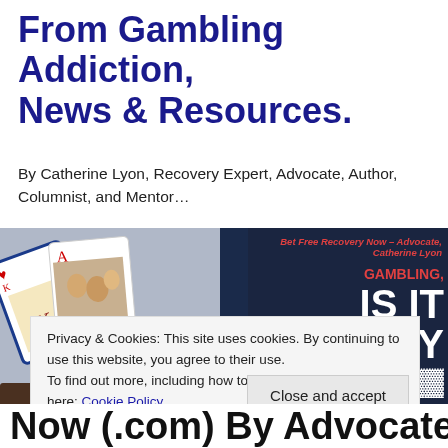From Gambling Addiction, News & Resources.
By Catherine Lyon, Recovery Expert, Advocate, Author, Columnist, and Mentor…
[Figure (photo): Banner image showing playing cards on the left with a family photo, and dark blue panel on right with text 'Bet Free Recovery Now – Advocate, Catherine Lyon' in red, and 'GAMBLING, IS IT REALLY' in large white and red bold text.]
Privacy & Cookies: This site uses cookies. By continuing to use this website, you agree to their use.
To find out more, including how to control cookies, see here: Cookie Policy
Now (.com) By Advocate